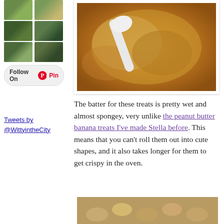[Figure (photo): Pinterest widget showing grid of nature/garden photos with Follow On Pinterest button]
[Figure (photo): Close-up photo of wet cookie batter in a bowl with a spoon]
Tweets by @WittyintheCity
The batter for these treats is pretty wet and almost spongey, very unlike the peanut butter banana treats I've made Stella before. This means that you can't roll them out into cute shapes, and it also takes longer for them to get crispy in the oven.
[Figure (photo): Cookie balls on baking sheet before baking]